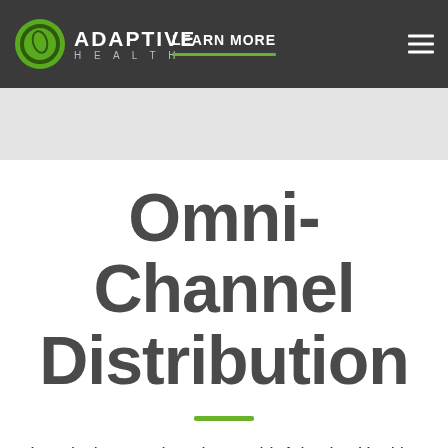ADAPTIVE HEALTH — LEARN MORE
Omni-Channel Distribution
In today's ever-changing world, Adaptive Health aims to provide its valued customers the most convenient access to its products via its